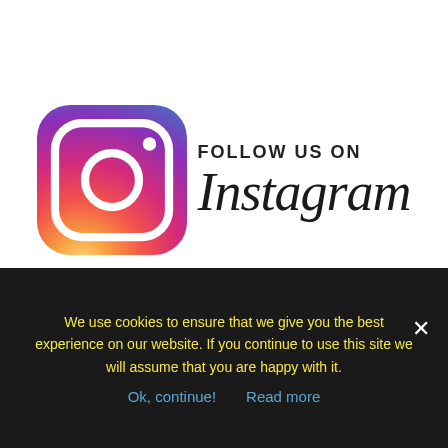[Figure (logo): Instagram logo with gradient background and camera icon, alongside FOLLOW US ON text and Instagram wordmark]
[Figure (logo): TripAdvisor Recommended badge with green circular border and owl icon, partially visible]
We use cookies to ensure that we give you the best experience on our website. If you continue to use this site we will assume that you are happy with it.
Ok, continue!   Read more